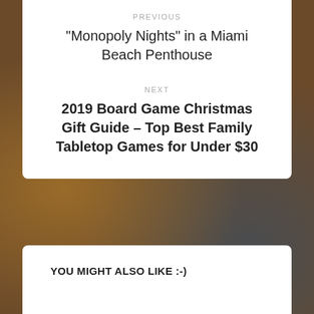PREVIOUS
“Monopoly Nights” in a Miami Beach Penthouse
NEXT
2019 Board Game Christmas Gift Guide – Top Best Family Tabletop Games for Under $30
YOU MIGHT ALSO LIKE :-)